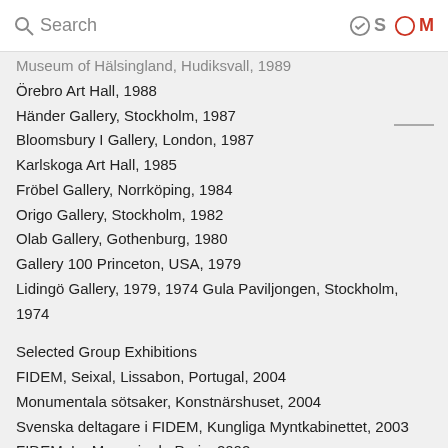Search  ✓S ○M
Museum of Hälsingland, Hudiksvall, 1989
Örebro Art Hall, 1988
Händer Gallery, Stockholm, 1987
Bloomsbury I Gallery, London, 1987
Karlskoga Art Hall, 1985
Fröbel Gallery, Norrköping, 1984
Origo Gallery, Stockholm, 1982
Olab Gallery, Gothenburg, 1980
Gallery 100 Princeton, USA, 1979
Lidingö Gallery, 1979, 1974 Gula Paviljongen, Stockholm, 1974
Selected Group Exhibitions
FIDEM, Seixal, Lissabon, Portugal, 2004
Monumentala sötsaker, Konstnärshuset, 2004
Svenska deltagare i FIDEM, Kungliga Myntkabinettet, 2003
FIDEM, La Monnaie de Paris, 2002